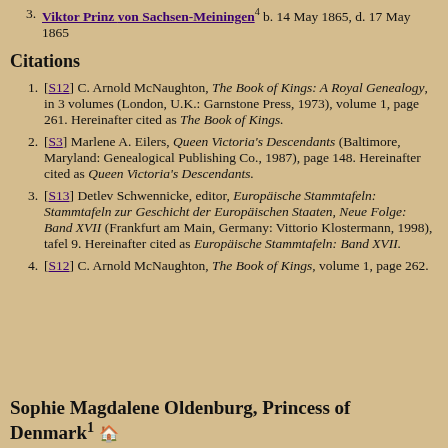3. Viktor Prinz von Sachsen-Meiningen⁴ b. 14 May 1865, d. 17 May 1865
Citations
1. [S12] C. Arnold McNaughton, The Book of Kings: A Royal Genealogy, in 3 volumes (London, U.K.: Garnstone Press, 1973), volume 1, page 261. Hereinafter cited as The Book of Kings.
2. [S3] Marlene A. Eilers, Queen Victoria's Descendants (Baltimore, Maryland: Genealogical Publishing Co., 1987), page 148. Hereinafter cited as Queen Victoria's Descendants.
3. [S13] Detlev Schwennicke, editor, Europäische Stammtafeln: Stammtafeln zur Geschicht der Europäischen Staaten, Neue Folge: Band XVII (Frankfurt am Main, Germany: Vittorio Klostermann, 1998), tafel 9. Hereinafter cited as Europäische Stammtafeln: Band XVII.
4. [S12] C. Arnold McNaughton, The Book of Kings, volume 1, page 262.
Sophie Magdalene Oldenburg, Princess of Denmark¹